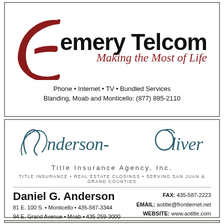[Figure (logo): Emery Telcom logo with stylized red E swoop and bold black text 'emery Telcom', tagline 'Making the Most of Life' in dark red italic]
Phone • Internet • TV • Bundled Services
Blanding, Moab and Monticello: (877) 895-2110
[Figure (logo): Anderson-Oliver Title Insurance Agency, Inc. logo with stylized teal script lettering]
TITLE INSURANCE • REAL ESTATE CLOSINGS • SERVING SAN JUAN & GRAND COUNTIES
Daniel G. Anderson
81 E. 100 S. • Monticello • 435-587-3344
94 E. Grand Avenue • Moab • 435-259-3000
FAX: 435-587-2223
EMAIL: aotitle@frontiernet.net
WEBSITE: www.aotitle.com